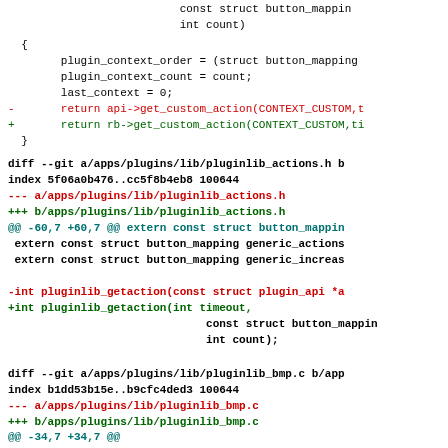const struct button_mappin
    int count)
{
    plugin_context_order = (struct button_mapping
    plugin_context_count = count;
    last_context = 0;
-       return api->get_custom_action(CONTEXT_CUSTOM,t
+       return rb->get_custom_action(CONTEXT_CUSTOM,ti
  }
diff --git a/apps/plugins/lib/pluginlib_actions.h b
index 5f06a0b476..cc5f8b4eb8 100644
--- a/apps/plugins/lib/pluginlib_actions.h
+++ b/apps/plugins/lib/pluginlib_actions.h
@@ -60,7 +60,7 @@ extern const struct button_mappin
 extern const struct button_mapping generic_actions
 extern const struct button_mapping generic_increas

-int pluginlib_getaction(const struct plugin_api *a
+int pluginlib_getaction(int timeout,
                              const struct button_mappin
                              int count);
diff --git a/apps/plugins/lib/pluginlib_bmp.c b/app
index b1dd53b15e..b9cfc4ded3 100644
--- a/apps/plugins/lib/pluginlib_bmp.c
+++ b/apps/plugins/lib/pluginlib_bmp.c
@@ -34,7 +34,7 @@
 /**